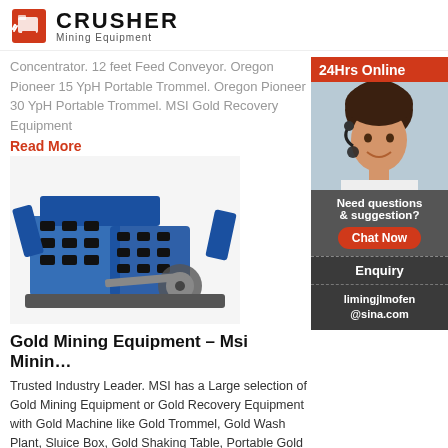[Figure (logo): Crusher Mining Equipment logo with red shopping bag icon and bold CRUSHER text]
Concentrator. 12 feet Feed Conveyor. Oregon Pioneer 15 YpH Portable Trommel. Oregon Pioneer 30 YpH Portable Trommel. MSI Gold Recovery Equipment
Read More
[Figure (photo): Blue and black industrial jaw crusher / gold mining equipment]
Gold Mining Equipment – Msi Minin…
Trusted Industry Leader. MSI has a Large selection of Gold Mining Equipment or Gold Recovery Equipment with Gold Machine like Gold Trommel, Gold Wash Plant, Sluice Box, Gold Shaking Table, Portable Gold Trommel, Portable Gold Wash Plant, Gold Concentrator, Gold Dredge, Gold Jig, Duplex Jig, Grizzly Feeder, Conveyor, Gold Enhancement known Monster Red and Big Red, and all
Read More
[Figure (photo): Sidebar: 24Hrs Online banner with customer service representative wearing headset]
Need questions & suggestion?
Chat Now
Enquiry
limingjlmofen@sina.com